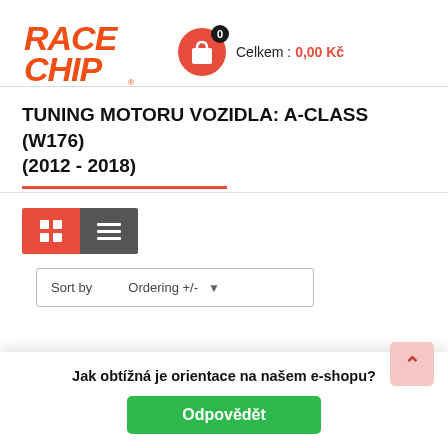[Figure (logo): RaceChip brand logo in orange italic bold font]
Celkem : 0,00 Kč
TUNING MOTORU VOZIDLA: A-CLASS (W176) (2012 - 2018)
[Figure (screenshot): View toggle buttons: grid view (red) and list view (dark grey)]
Sort by   Ordering +/-
[Figure (photo): Partial product thumbnail — black round device top visible]
Jak obtížná je orientace na našem e-shopu?
Odpovědět